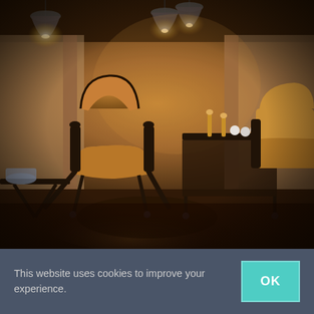[Figure (photo): Interior scene with tan/caramel leather armchairs with black metal frames, a rolling side table with wooden pegs, pendant lights with smoked glass shades hanging from ceiling, soft warm lighting, curtains in background, moody lounge atmosphere]
This website uses cookies to improve your experience.